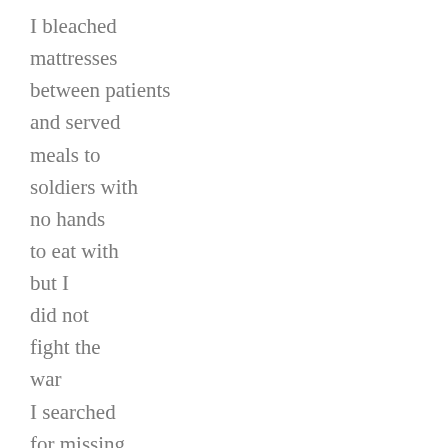I bleached mattresses between patients and served meals to soldiers with no hands to eat with but I did not fight the war I searched for missing limbs and spoke with angry village elders and